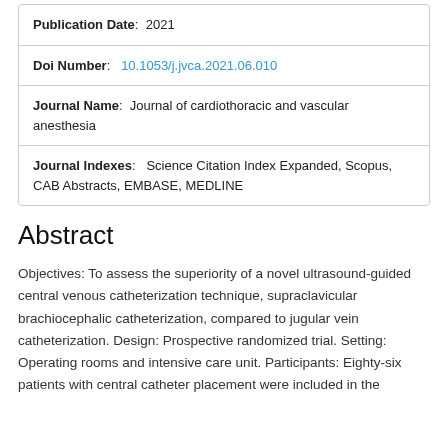| Publication Date: | 2021 |
| Doi Number: | 10.1053/j.jvca.2021.06.010 |
| Journal Name: | Journal of cardiothoracic and vascular anesthesia |
| Journal Indexes: | Science Citation Index Expanded, Scopus, CAB Abstracts, EMBASE, MEDLINE |
Abstract
Objectives: To assess the superiority of a novel ultrasound-guided central venous catheterization technique, supraclavicular brachiocephalic catheterization, compared to jugular vein catheterization. Design: Prospective randomized trial. Setting: Operating rooms and intensive care unit. Participants: Eighty-six patients with central catheter placement were included in the